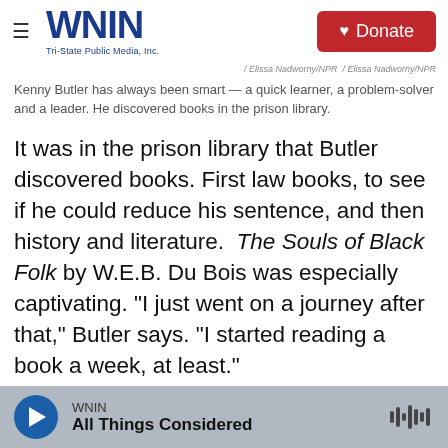WNIN Tri-State Public Media, Inc. | Donate
/ Elissa Nadworny/NPR / Elissa Nadworny/NPR
Kenny Butler has always been smart — a quick learner, a problem-solver and a leader. He discovered books in the prison library.
It was in the prison library that Butler discovered books. First law books, to see if he could reduce his sentence, and then history and literature. The Souls of Black Folk by W.E.B. Du Bois was especially captivating. "I just went on a journey after that," Butler says. "I started reading a book a week, at least."
But the books in the prison library were often hard
WNIN | All Things Considered